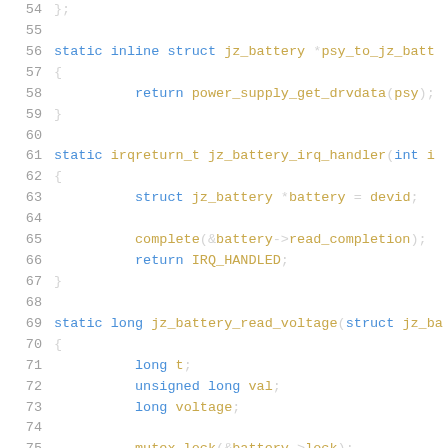[Figure (screenshot): Source code listing in C showing lines 54–75 of a battery driver file. The code defines static inline and static functions including psy_to_jz_battery, jz_battery_irq_handler, and jz_battery_read_voltage. Line numbers appear on the left in gray, keywords in blue, function names in yellow/tan.]